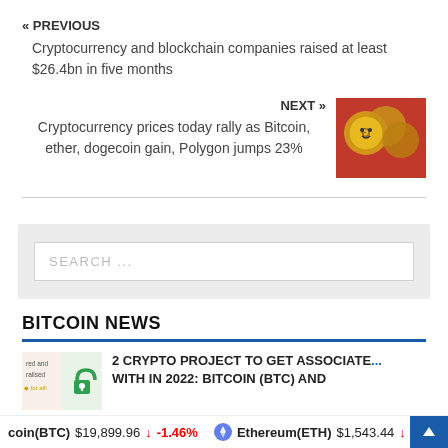« PREVIOUS
Cryptocurrency and blockchain companies raised at least $26.4bn in five months
NEXT »
Cryptocurrency prices today rally as Bitcoin, ether, dogecoin gain, Polygon jumps 23%
[Figure (photo): Dogecoin coins on red background]
SEARCH ...
BITCOIN NEWS
2 CRYPTO PROJECT TO GET ASSOCIATED WITH IN 2022: BITCOIN (BTC) AND
[Figure (photo): Crypto project thumbnail with lock icon]
coin(BTC) $19,899.96 ↓ -1.46% Ethereum(ETH) $1,543.44 ↓ -2...